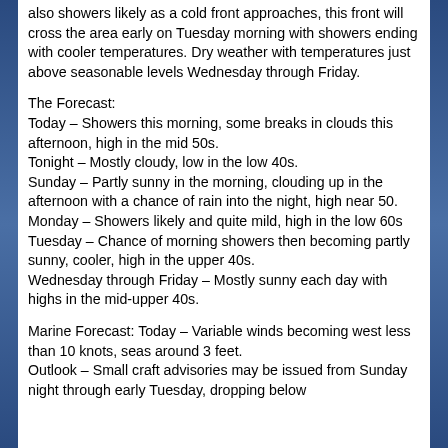also showers likely as a cold front approaches, this front will cross the area early on Tuesday morning with showers ending with cooler temperatures. Dry weather with temperatures just above seasonable levels Wednesday through Friday.
The Forecast:
Today – Showers this morning, some breaks in clouds this afternoon, high in the mid 50s.
Tonight – Mostly cloudy, low in the low 40s.
Sunday – Partly sunny in the morning, clouding up in the afternoon with a chance of rain into the night, high near 50.
Monday – Showers likely and quite mild, high in the low 60s
Tuesday – Chance of morning showers then becoming partly sunny, cooler, high in the upper 40s.
Wednesday through Friday – Mostly sunny each day with highs in the mid-upper 40s.
Marine Forecast: Today – Variable winds becoming west less than 10 knots, seas around 3 feet.
Outlook – Small craft advisories may be issued from Sunday night through early Tuesday, dropping below